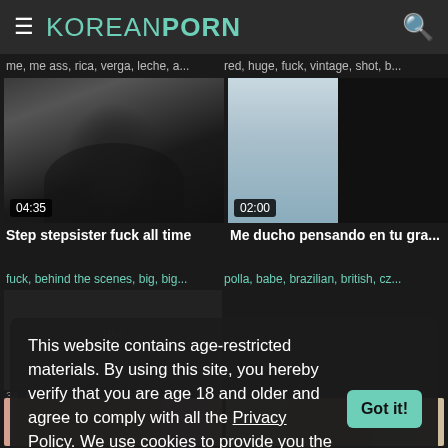≡ KOREANPORN 🔍
me, me ass, rica, verga, leche, a...    red, huge, fuck, vintage, shot, b...
[Figure (screenshot): Video thumbnail showing person, duration 04:35]
[Figure (screenshot): Video thumbnail showing bathroom scene, duration 02:00]
Step stepsister fuck all time
Me ducho pensando en tu gra...
fuck, behind the scenes, big, big...     polla, babe, brazilian, british, cz...
This website contains age-restricted materials. By using this site, you hereby verify that you are age 18 and older and agree to comply with all the Privacy Policy. We use cookies to provide you the best possible experience on our website and to monitor website traffic. Cookies Policy.
[Figure (screenshot): Bottom video thumbnails partially visible]